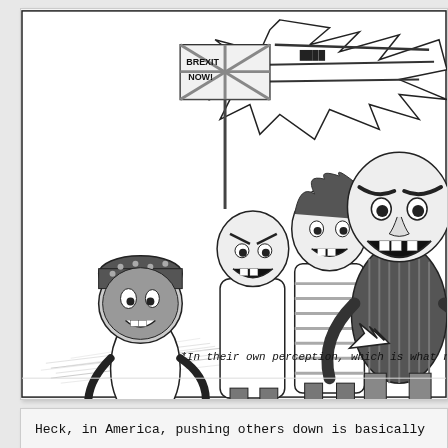[Figure (illustration): Black and white cartoon illustration showing a group of angry protesters. One person holds a 'BREXIT NOW!' sign with a Union Jack flag. Several figures with exaggerated expressions appear to be in a confrontational mob scene. A speech bubble with jagged text is visible at top right. At the bottom of the panel is a caption: '*In their own perception, which is what r...']
*In their own perception, which is what r
Heck, in America, pushing others down is basically